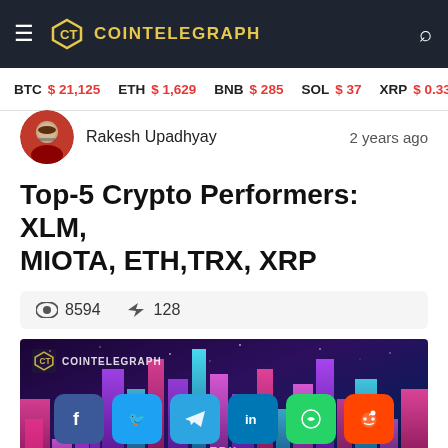COINTELEGRAPH
BTC $ 21,125  ETH $ 1,629  BNB $ 285  SOL $ 37  XRP $ 0.3387  BCH $
Rakesh Upadhyay   2 years ago
Top-5 Crypto Performers: XLM, MIOTA, ETH,TRX, XRP
8594  128
[Figure (illustration): Colorful neon cityscape illustration with tall glowing buildings in purple, pink, and blue hues against a dark starry sky. Social share buttons (Facebook, Twitter, Telegram, LinkedIn, WhatsApp, Reddit) are overlaid in the center. Navigation arrows appear at the bottom. A CoinTelegraph watermark is in the top left. A 'TRX' label appears near the bottom center.]